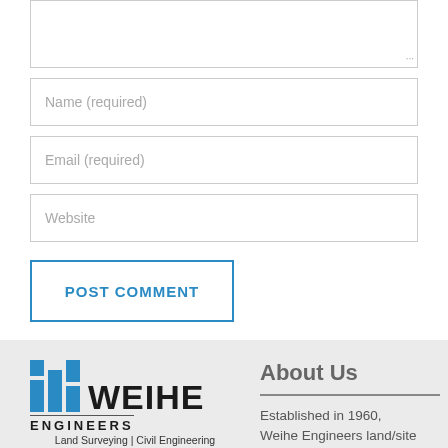[Figure (screenshot): Textarea input field (comment box) with resize handle at bottom-right]
Name (required)
Email (required)
Website
POST COMMENT
[Figure (logo): Weihe Engineers logo with blue block graphic, company name, tagline 'Build with confidence.' and services: Land Surveying | Civil Engineering Landscape Architecture]
About Us
Established in 1960, Weihe Engineers land/site